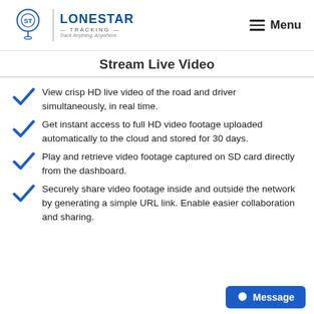[Figure (logo): Lonestar Tracking logo with GPS pin icon and text 'Track Anything, Anywhere.']
Stream Live Video
View crisp HD live video of the road and driver simultaneously, in real time.
Get instant access to full HD video footage uploaded automatically to the cloud and stored for 30 days.
Play and retrieve video footage captured on SD card directly from the dashboard.
Securely share video footage inside and outside the network by generating a simple URL link. Enable easier collaboration and sharing.